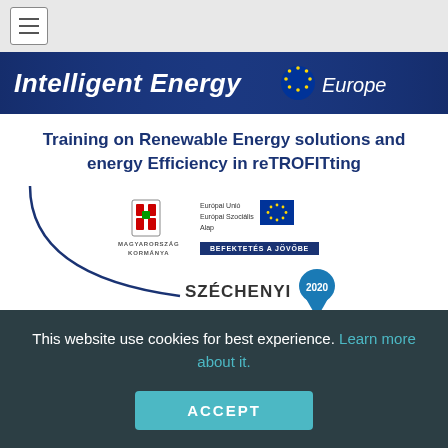[Figure (screenshot): Navigation bar with hamburger menu icon]
[Figure (logo): Intelligent Energy Europe blue banner with EU flag stars]
Training on Renewable Energy solutions and energy Efficiency in reTROFITting
[Figure (logo): Logos: Magyarország Kormánya, Európai Unió Európai Szociális Alap, Befektetés a Jövőbe, Széchenyi 2020]
This website use cookies for best experience. Learn more about it.